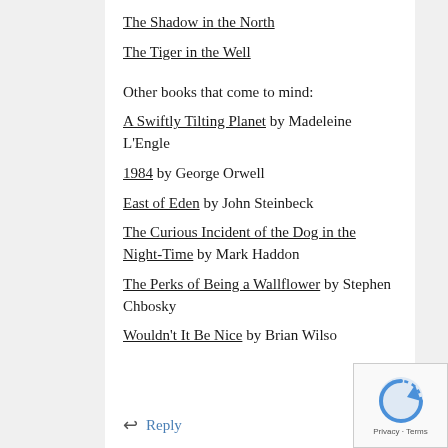The Shadow in the North
The Tiger in the Well
Other books that come to mind:
A Swiftly Tilting Planet by Madeleine L'Engle
1984 by George Orwell
East of Eden by John Steinbeck
The Curious Incident of the Dog in the Night-Time by Mark Haddon
The Perks of Being a Wallflower by Stephen Chbosky
Wouldn't It Be Nice by Brian Wilso
Reply